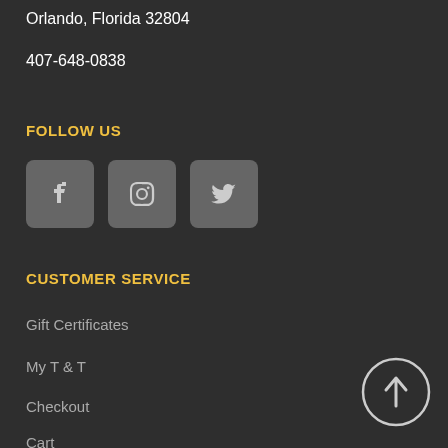Orlando, Florida 32804
407-648-0838
FOLLOW US
[Figure (other): Social media icons: Facebook, Instagram, Twitter in gray rounded square buttons]
CUSTOMER SERVICE
Gift Certificates
My T & T
Checkout
Cart
[Figure (other): Back to top button: circular arrow pointing up]